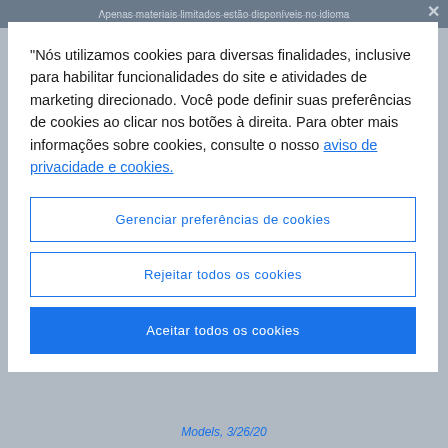Apenas materiais limitados estão disponíveis no idioma
"Nós utilizamos cookies para diversas finalidades, inclusive para habilitar funcionalidades do site e atividades de marketing direcionado. Você pode definir suas preferências de cookies ao clicar nos botões à direita. Para obter mais informações sobre cookies, consulte o nosso aviso de privacidade e cookies.
Gerenciar preferências de cookies
Rejeitar todos os cookies
Aceitar todos os cookies
Models, 3/26/20